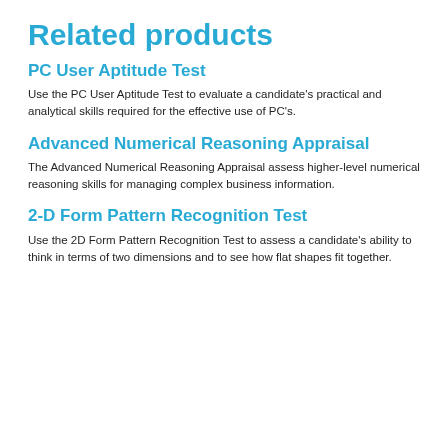Related products
PC User Aptitude Test
Use the PC User Aptitude Test to evaluate a candidate's practical and analytical skills required for the effective use of PC's.
Advanced Numerical Reasoning Appraisal
The Advanced Numerical Reasoning Appraisal assess higher-level numerical reasoning skills for managing complex business information.
2-D Form Pattern Recognition Test
Use the 2D Form Pattern Recognition Test to assess a candidate's ability to think in terms of two dimensions and to see how flat shapes fit together.